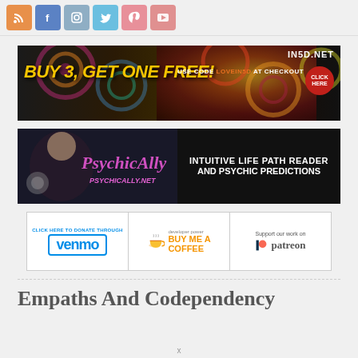[Figure (other): Social media icon bar with RSS (orange), Facebook (blue), Instagram (gray-blue), Twitter (light blue), Pinterest (pink), YouTube (pink-red)]
[Figure (other): In5D.net banner ad: BUY 3, GET ONE FREE! USE CODE LOVEIN5D AT CHECKOUT with tie-dye background and CLICK HERE button]
[Figure (other): PsychicAlly banner: Intuitive Life Path Reader and Psychic Predictions, PSYCHICALLY.NET]
[Figure (other): Donation widget row with Venmo, Buy Me A Coffee, and Patreon logos]
Empaths And Codependency